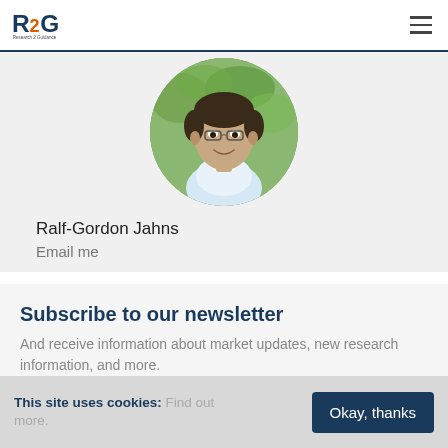R2G Research 2 Guidance
[Figure (photo): Circular headshot photo of Ralf-Gordon Jahns, a man wearing glasses and a white shirt, smiling, with green foliage background]
Ralf-Gordon Jahns
Email me
Subscribe to our newsletter
And receive information about market updates, new research information, and more.
This site uses cookies: Find out more.